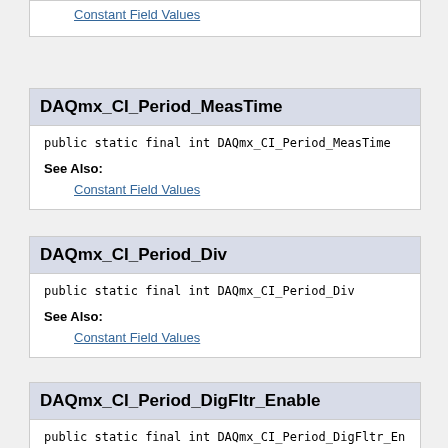Constant Field Values
DAQmx_CI_Period_MeasTime
public static final int DAQmx_CI_Period_MeasTime
See Also:
Constant Field Values
DAQmx_CI_Period_Div
public static final int DAQmx_CI_Period_Div
See Also:
Constant Field Values
DAQmx_CI_Period_DigFltr_Enable
public static final int DAQmx_CI_Period_DigFltr_Enabl
See Also:
Constant Field Values